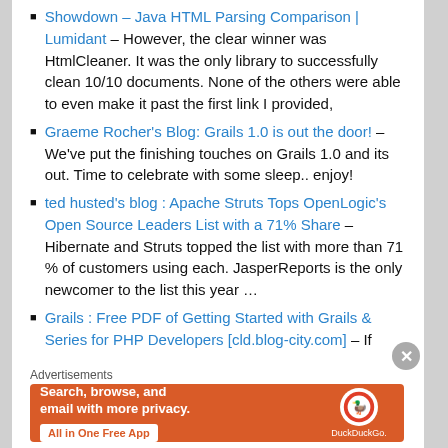Showdown – Java HTML Parsing Comparison | Lumidant – However, the clear winner was HtmlCleaner. It was the only library to successfully clean 10/10 documents. None of the others were able to even make it past the first link I provided,
Graeme Rocher's Blog: Grails 1.0 is out the door! – We've put the finishing touches on Grails 1.0 and its out. Time to celebrate with some sleep.. enjoy!
ted husted's blog : Apache Struts Tops OpenLogic's Open Source Leaders List with a 71% Share – Hibernate and Struts topped the list with more than 71 % of customers using each. JasperReports is the only newcomer to the list this year …
Grails : Free PDF of Getting Started with Grails & Series for PHP Developers [cld.blog-city.com] – If
Advertisements
[Figure (infographic): DuckDuckGo advertisement: orange background with phone graphic and DuckDuckGo logo. Text: Search, browse, and email with more privacy. All in One Free App]